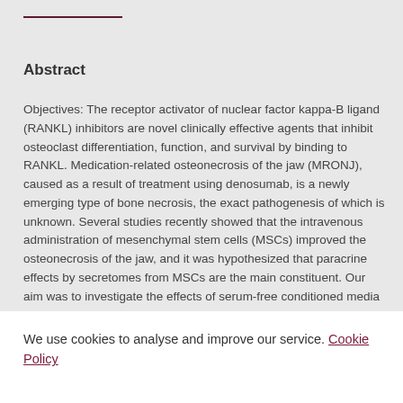Abstract
Objectives: The receptor activator of nuclear factor kappa-B ligand (RANKL) inhibitors are novel clinically effective agents that inhibit osteoclast differentiation, function, and survival by binding to RANKL. Medication-related osteonecrosis of the jaw (MRONJ), caused as a result of treatment using denosumab, is a newly emerging type of bone necrosis, the exact pathogenesis of which is unknown. Several studies recently showed that the intravenous administration of mesenchymal stem cells (MSCs) improved the osteonecrosis of the jaw, and it was hypothesized that paracrine effects by secretomes from MSCs are the main constituent. Our aim was to investigate the effects of serum-free conditioned media from human MSCs (MSC-CM) and RANKL
We use cookies to analyse and improve our service. Cookie Policy